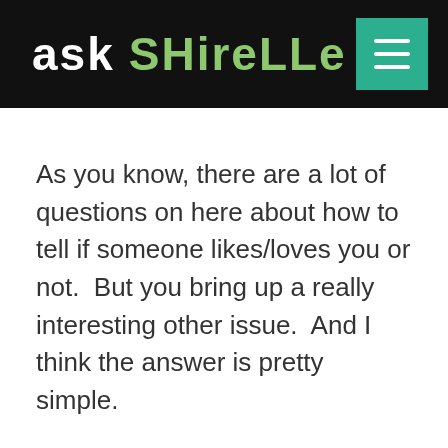aSK SHireLLe
As you know, there are a lot of questions on here about how to tell if someone likes/loves you or not.  But you bring up a really interesting other issue.  And I think the answer is pretty simple.
Some people are shy, and although they're willing to tell someone how they